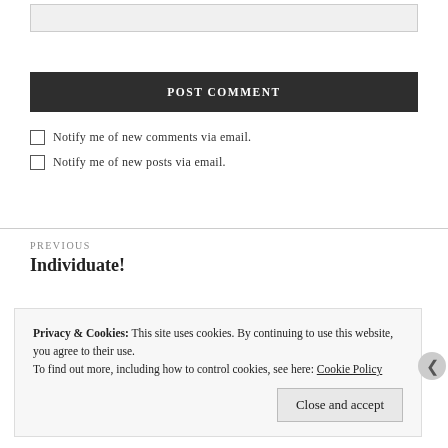[input field]
POST COMMENT
Notify me of new comments via email.
Notify me of new posts via email.
PREVIOUS
Individuate!
Privacy & Cookies: This site uses cookies. By continuing to use this website, you agree to their use.
To find out more, including how to control cookies, see here: Cookie Policy
Close and accept